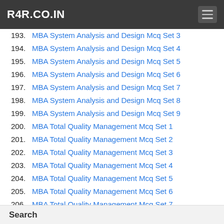R4R.CO.IN
193. MBA System Analysis and Design Mcq Set 3
194. MBA System Analysis and Design Mcq Set 4
195. MBA System Analysis and Design Mcq Set 5
196. MBA System Analysis and Design Mcq Set 6
197. MBA System Analysis and Design Mcq Set 7
198. MBA System Analysis and Design Mcq Set 8
199. MBA System Analysis and Design Mcq Set 9
200. MBA Total Quality Management Mcq Set 1
201. MBA Total Quality Management Mcq Set 2
202. MBA Total Quality Management Mcq Set 3
203. MBA Total Quality Management Mcq Set 4
204. MBA Total Quality Management Mcq Set 5
205. MBA Total Quality Management Mcq Set 6
206. MBA Total Quality Management Mcq Set 7
207. MBA Total Quality Management Mcq Set 8
Search